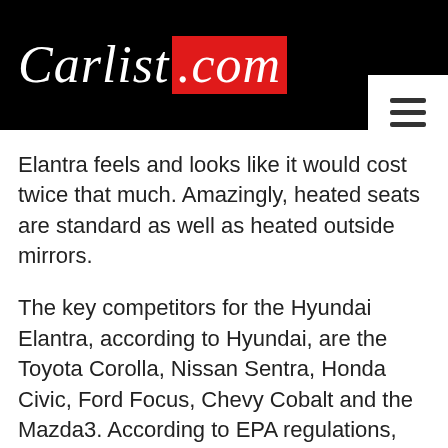[Figure (logo): Carlist.com logo on black background with hamburger menu icon]
Elantra feels and looks like it would cost twice that much. Amazingly, heated seats are standard as well as heated outside mirrors.
The key competitors for the Hyundai Elantra, according to Hyundai, are the Toyota Corolla, Nissan Sentra, Honda Civic, Ford Focus, Chevy Cobalt and the Mazda3. According to EPA regulations, Elantra should be classified as a mid-size car. The interior exceeds the interior volume of a compact, but the exterior does not, so the Hyundai stays listed as a compact and gets bragging rights for the most interior room of that segment.